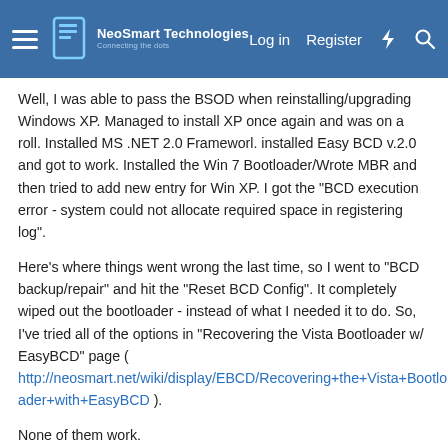NeoSmart Technologies — Log in | Register
Well, I was able to pass the BSOD when reinstalling/upgrading Windows XP. Managed to install XP once again and was on a roll. Installed MS .NET 2.0 Frameworl. installed Easy BCD v.2.0 and got to work. Installed the Win 7 Bootloader/Wrote MBR and then tried to add new entry for Win XP. I got the "BCD execution error - system could not allocate required space in registering log".
Here's where things went wrong the last time, so I went to "BCD backup/repair" and hit the "Reset BCD Config". It completely wiped out the bootloader - instead of what I needed it to do. So, I've tried all of the options in "Recovering the Vista Bootloader w/ EasyBCD" page ( http://neosmart.net/wiki/display/EBCD/Recovering+the+Vista+Bootloader+with+EasyBCD ).
None of them work.
I can't add a new entry - either XP or Win 7 - i get the same "BCD execution error - system could not allocate required space". I can't